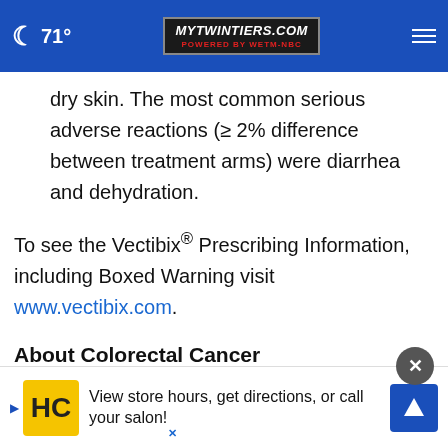🌙 71° | MYTWINTIERS.COM ☰
dry skin. The most common serious adverse reactions (≥ 2% difference between treatment arms) were diarrhea and dehydration.
To see the Vectibix® Prescribing Information, including Boxed Warning visit www.vectibix.com.
About Colorectal Cancer
Colorectal cancer is the second most common non cancer... most